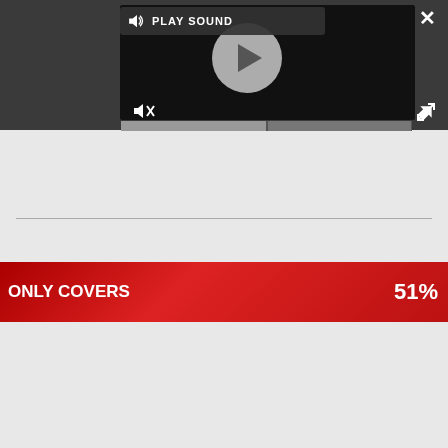[Figure (screenshot): Video player overlay with play button, mute icon, play sound label, and progress bar on dark background]
[Figure (screenshot): Advertisement banner: red background with text 'ONLY COVERS' and '51%' discount]
[Figure (screenshot): Author profile: Andy Chalk with circular avatar on pink background, Twitter and email social icons]
[Figure (screenshot): Destiny 2 Lightfall game advertisement: 'OUR END BEGINS', PRE-ORDER NOW button, ESRB Teen rating, dark sci-fi imagery]